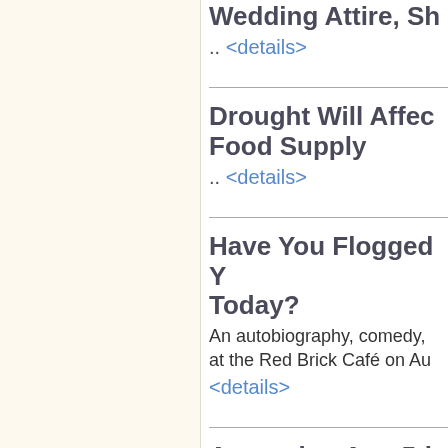Wedding Attire, Sh...
.. <details>
Drought Will Affec... Food Supply
.. <details>
Have You Flogged ... Today?
An autobiography, comedy, ... at the Red Brick Café on Au...
<details>
Appearing Aug 5th... Cl b C ld S ...